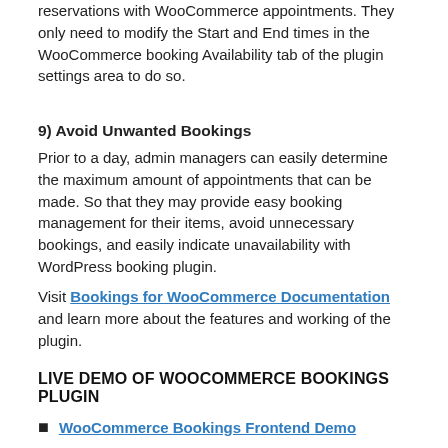reservations with WooCommerce appointments. They only need to modify the Start and End times in the WooCommerce booking Availability tab of the plugin settings area to do so.
9) Avoid Unwanted Bookings
Prior to a day, admin managers can easily determine the maximum amount of appointments that can be made. So that they may provide easy booking management for their items, avoid unnecessary bookings, and easily indicate unavailability with WordPress booking plugin.
Visit Bookings for WooCommerce Documentation and learn more about the features and working of the plugin.
LIVE DEMO OF WOOCOMMERCE BOOKINGS PLUGIN
WooCommerce Bookings Frontend Demo